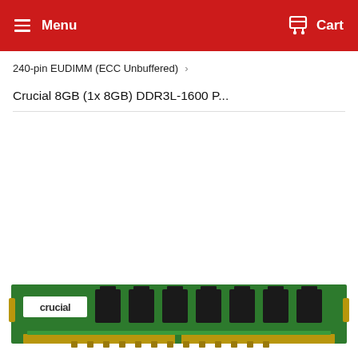Menu   Cart
240-pin EUDIMM (ECC Unbuffered) ›
Crucial 8GB (1x 8GB) DDR3L-1600 P...
[Figure (photo): Photo of a Crucial 8GB DDR3L memory RAM stick with green PCB and black chips, showing the Crucial logo on a white label]